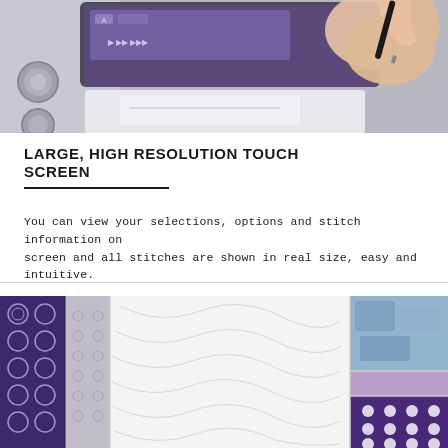[Figure (photo): Close-up photo of a hand holding a stylus pen touching the screen of a sewing machine's large touch screen display. The machine is light grey/white and the screen shows purple interface elements.]
LARGE, HIGH RESOLUTION TOUCH SCREEN
You can view your selections, options and stitch information on screen and all stitches are shown in real size, easy and intuitive.
[Figure (photo): Close-up photo of a patchwork quilt with purple, blue, white and grey fabric squares sewn together. The quilt shows detailed quilting stitches on the white fabric sections.]